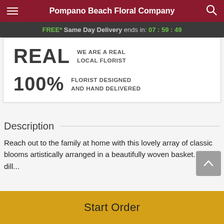Pompano Beach Floral Company
FREE* Same Day Delivery ends in: 07 : 59 : 49
REAL WE ARE A REAL LOCAL FLORIST
100% FLORIST DESIGNED AND HAND DELIVERED
Description
Reach out to the family at home with this lovely array of classic blooms artistically arranged in a beautifully woven basket. The dill...
Start Order